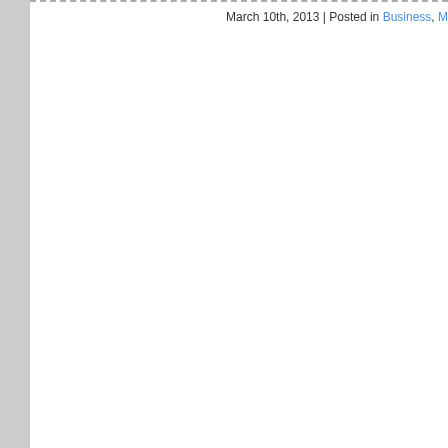March 10th, 2013 | Posted in Business, M...